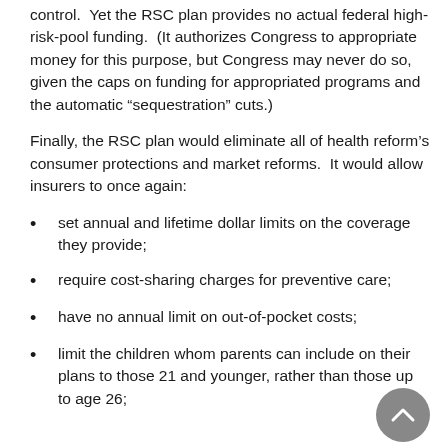control.  Yet the RSC plan provides no actual federal high-risk-pool funding.  (It authorizes Congress to appropriate money for this purpose, but Congress may never do so, given the caps on funding for appropriated programs and the automatic “sequestration” cuts.)
Finally, the RSC plan would eliminate all of health reform’s consumer protections and market reforms.  It would allow insurers to once again:
set annual and lifetime dollar limits on the coverage they provide;
require cost-sharing charges for preventive care;
have no annual limit on out-of-pocket costs;
limit the children whom parents can include on their plans to those 21 and younger, rather than those up to age 26;